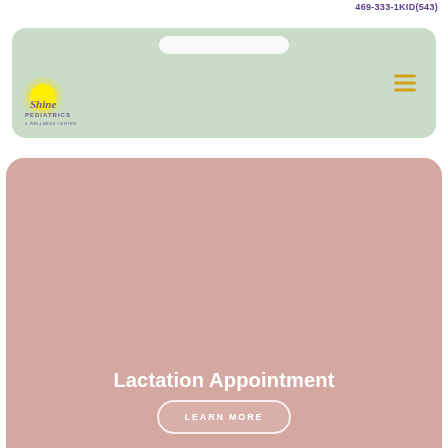469-333-1KID(543)
[Figure (screenshot): Navigation bar with light green background, Shine Pediatrics & Wellness Center logo with yellow sun graphic on left, search pill bar at top center, and hamburger menu icon in orange/gold on right]
[Figure (screenshot): Pink/mauve card section showing 'Lactation Appointment' title text in white and a 'LEARN MORE' button with pill/rounded border at bottom]